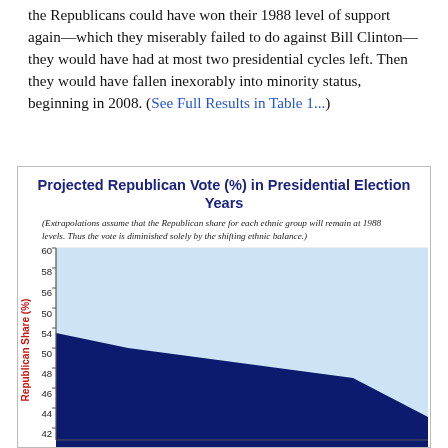the Republicans could have won their 1988 level of support again—which they miserably failed to do against Bill Clinton—they would have had at most two presidential cycles left. Then they would have fallen inexorably into minority status, beginning in 2008. (See Full Results in Table 1...)
[Figure (area-chart): Area chart showing declining Republican share from ~53% down toward ~44% over presidential election years. Light blue background area shows the full range up to 60%, dark navy area shows the actual Republican projected share declining over time.]